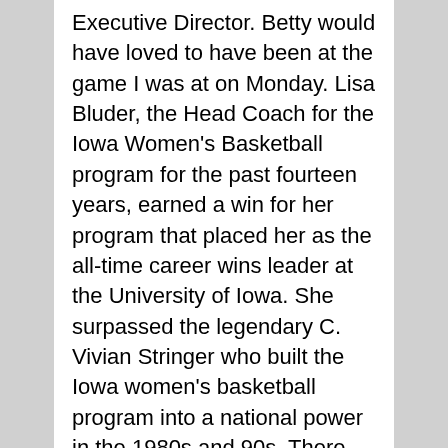Executive Director. Betty would have loved to have been at the game I was at on Monday. Lisa Bluder, the Head Coach for the Iowa Women's Basketball program for the past fourteen years, earned a win for her program that placed her as the all-time career wins leader at the University of Iowa. She surpassed the legendary C. Vivian Stringer who built the Iowa women's basketball program into a national power in the 1980s and 90s. There was a special ceremony following the game honoring Lisa and she quickly brought her long-time assistant coaches and friends Jan Jensen and Jenni Fitzgerald to her side. It